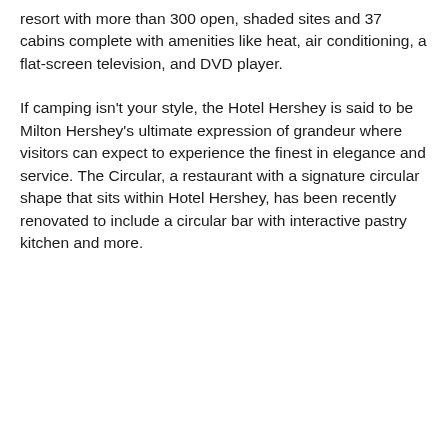resort with more than 300 open, shaded sites and 37 cabins complete with amenities like heat, air conditioning, a flat-screen television, and DVD player.
If camping isn't your style, the Hotel Hershey is said to be Milton Hershey's ultimate expression of grandeur where visitors can expect to experience the finest in elegance and service. The Circular, a restaurant with a signature circular shape that sits within Hotel Hershey, has been recently renovated to include a circular bar with interactive pastry kitchen and more.